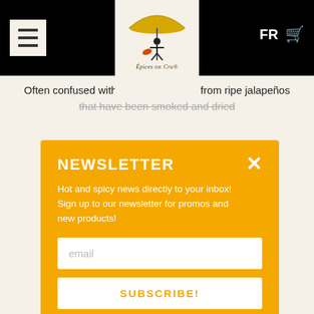Épices de Cru® — FR [cart]
Often confused with true ch… made from ripe jalapeños that have been smoked and dried
NEWSLETTER
Hot and spicy news directly to your inbox! Sign up to our newsletter for promos and new products!
email
SUBSCRIBE!
[Figure (photo): Two dried morita chili peppers]
MORITA CHILE (SMOKED)
8.25 $US